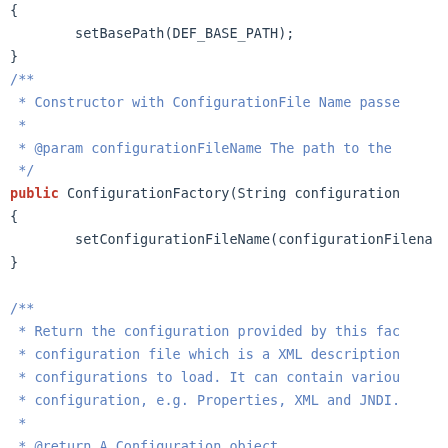Java source code showing ConfigurationFactory constructor and getConfiguration() method with Javadoc comments